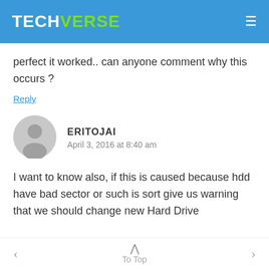TECHVERSE
perfect it worked.. can anyone comment why this occurs ?
Reply
ERITOJAI
April 3, 2016 at 8:40 am
I want to know also, if this is caused because hdd have bad sector or such is sort give us warning that we should change new Hard Drive
< To Top >